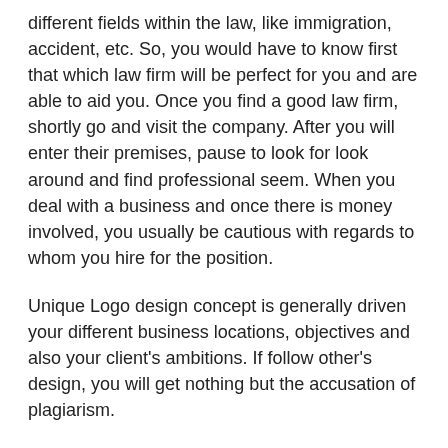different fields within the law, like immigration, accident, etc. So, you would have to know first that which law firm will be perfect for you and are able to aid you. Once you find a good law firm, shortly go and visit the company. After you will enter their premises, pause to look for look around and find professional seem. When you deal with a business and once there is money involved, you usually be cautious with regards to whom you hire for the position.
Unique Logo design concept is generally driven your different business locations, objectives and also your client's ambitions. If follow other's design, you will get nothing but the accusation of plagiarism.
Logos express a lot about the company they mean. Technology companies that would prefer to signify market leadership and stress their strict business ideals might go in for a futuristic design can be